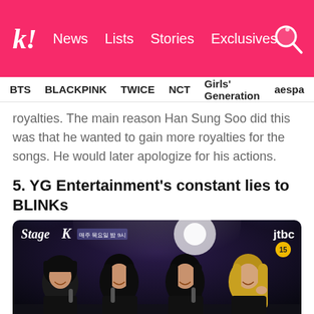k! News  Lists  Stories  Exclusives
BTS  BLACKPINK  TWICE  NCT  Girls' Generation  aespa
royalties. The main reason Han Sung Soo did this was that he wanted to gain more royalties for the songs. He would later apologize for his actions.
5. YG Entertainment's constant lies to BLINKs
[Figure (photo): BLACKPINK four members performing on stage at Stage K (JTBC program), all wearing black outfits and holding microphones, smiling]